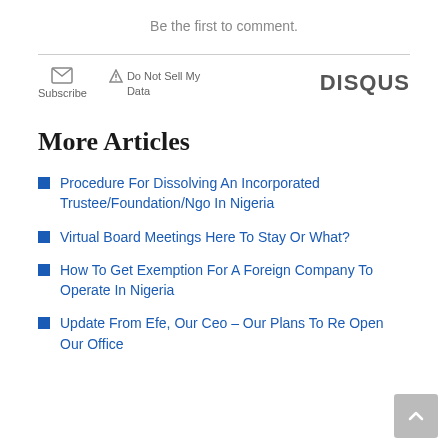Be the first to comment.
[Figure (other): Disqus comment widget footer bar with Subscribe button (envelope icon), Do Not Sell My Data (warning icon), and DISQUS logo]
More Articles
Procedure For Dissolving An Incorporated Trustee/Foundation/Ngo In Nigeria
Virtual Board Meetings Here To Stay Or What?
How To Get Exemption For A Foreign Company To Operate In Nigeria
Update From Efe, Our Ceo &#8211; Our Plans To Re Open Our Office